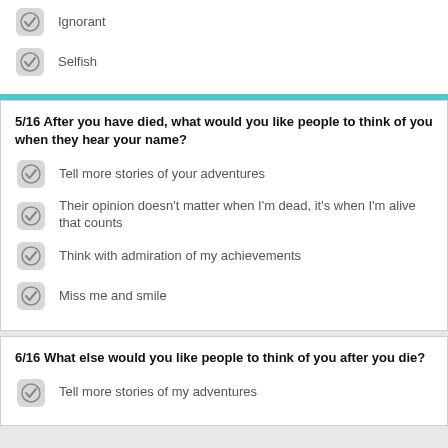Ignorant
Selfish
5/16 After you have died, what would you like people to think of you when they hear your name?
Tell more stories of your adventures
Their opinion doesn't matter when I'm dead, it's when I'm alive that counts
Think with admiration of my achievements
Miss me and smile
6/16 What else would you like people to think of you after you die?
Tell more stories of my adventures